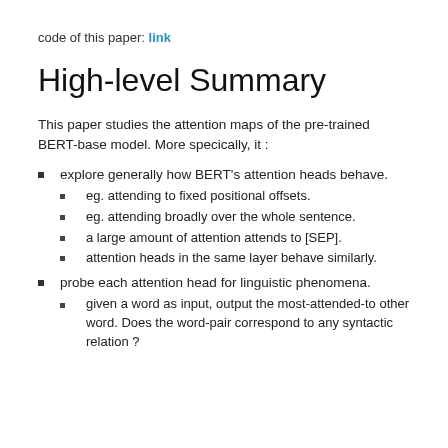code of this paper: link
High-level Summary
This paper studies the attention maps of the pre-trained BERT-base model. More specically, it :
explore generally how BERT's attention heads behave.
eg. attending to fixed positional offsets.
eg. attending broadly over the whole sentence.
a large amount of attention attends to [SEP].
attention heads in the same layer behave similarly.
probe each attention head for linguistic phenomena.
given a word as input, output the most-attended-to other word. Does the word-pair correspond to any syntactic relation ?